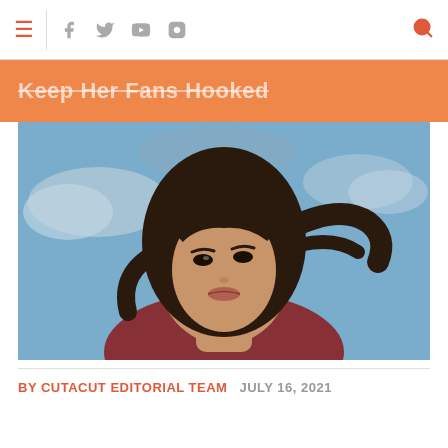≡  f  𝕥  ▶  ☷  🔍
Keep Her Fans Hooked
[Figure (photo): Portrait photo of a young woman with long dark wavy hair, wearing a red outfit, against a blue sky background with a blurred outdoor scene]
BY CUTACUT EDITORIAL TEAM   JULY 16, 2021